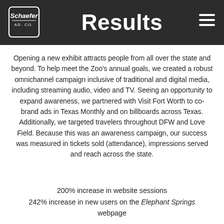Results
Opening a new exhibit attracts people from all over the state and beyond. To help meet the Zoo's annual goals, we created a robust omnichannel campaign inclusive of traditional and digital media, including streaming audio, video and TV. Seeing an opportunity to expand awareness, we partnered with Visit Fort Worth to co-brand ads in Texas Monthly and on billboards across Texas. Additionally, we targeted travelers throughout DFW and Love Field. Because this was an awareness campaign, our success was measured in tickets sold (attendance), impressions served and reach across the state.
200% increase in website sessions
242% increase in new users on the Elephant Springs webpage